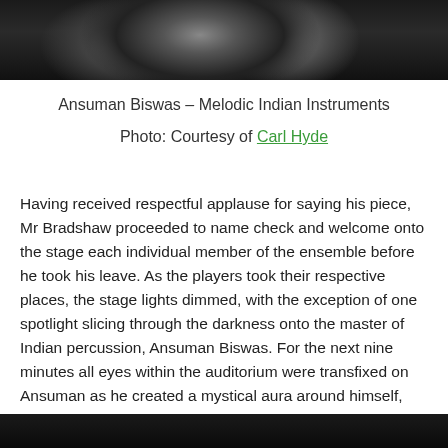[Figure (photo): Black and white performance photograph of musician with instruments]
Ansuman Biswas – Melodic Indian Instruments
Photo: Courtesy of Carl Hyde
Having received respectful applause for saying his piece, Mr Bradshaw proceeded to name check and welcome onto the stage each individual member of the ensemble before he took his leave. As the players took their respective places, the stage lights dimmed, with the exception of one spotlight slicing through the darkness onto the master of Indian percussion, Ansuman Biswas. For the next nine minutes all eyes within the auditorium were transfixed on Ansuman as he created a mystical aura around himself, seemingly reaching out to the spirit of John Coltrane to bless the ensembles musical offering.
[Figure (photo): Bottom portion of another performance photograph, mostly dark]